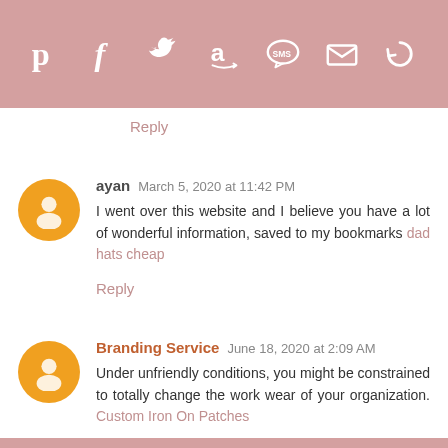[Figure (other): Social media share bar with icons: Pinterest, Facebook, Twitter, Amazon, SMS, Email, and a circular arrow icon, all white on dusty rose/pink background]
Reply
ayan March 5, 2020 at 11:42 PM
I went over this website and I believe you have a lot of wonderful information, saved to my bookmarks dad hats cheap
Reply
Branding Service June 18, 2020 at 2:09 AM
Under unfriendly conditions, you might be constrained to totally change the work wear of your organization. Custom Iron On Patches
Reply